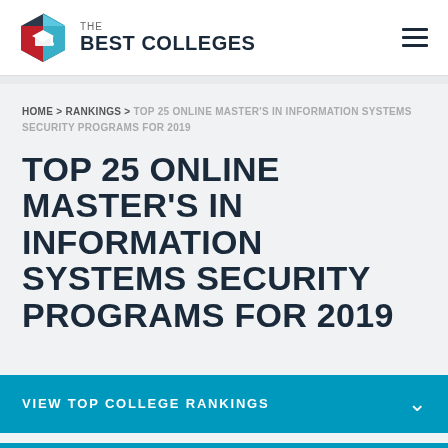The Best Colleges
HOME > RANKINGS > TOP 25 ONLINE MASTER'S IN INFORMATION SYSTEMS SECURITY PROGRAMS FOR 2019
TOP 25 ONLINE MASTER'S IN INFORMATION SYSTEMS SECURITY PROGRAMS FOR 2019
VIEW TOP COLLEGE RANKINGS
VIEW PROGRAM RANKINGS